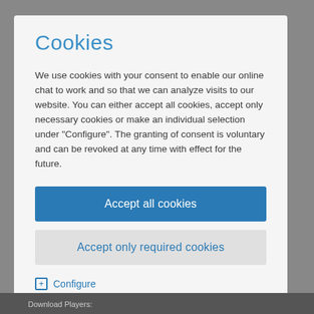Cookies
We use cookies with your consent to enable our online chat to work and so that we can analyze visits to our website. You can either accept all cookies, accept only necessary cookies or make an individual selection under "Configure". The granting of consent is voluntary and can be revoked at any time with effect for the future.
Accept all cookies
Accept only required cookies
+ Configure
Download Players: